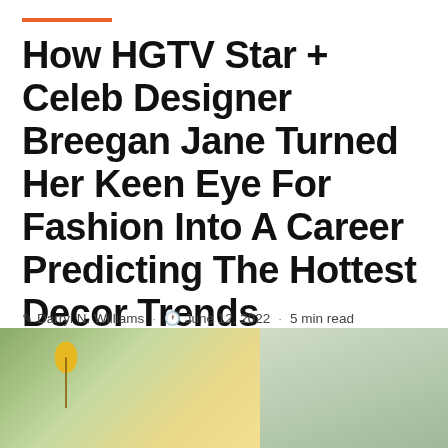How HGTV Star + Celeb Designer Breegan Jane Turned Her Keen Eye For Fashion Into A Career Predicting The Hottest Decor Trends
Darryl N. Williams · June 12, 2022 · 5 min read
[ad_1]
[Figure (photo): Outdoor photo showing a yellow umbrella on the left side against green trees, and a white building/house facade on the right side]